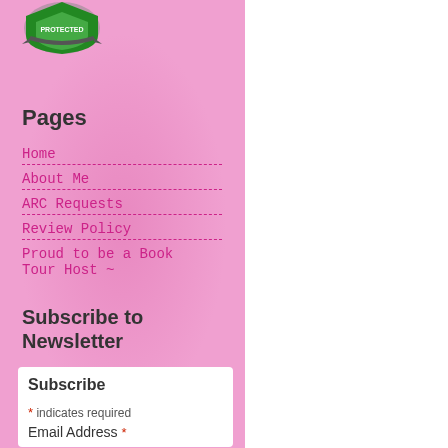[Figure (logo): Protected shield logo badge at top left]
Pages
Home
About Me
ARC Requests
Review Policy
Proud to be a Book Tour Host ~
Subscribe to Newsletter
Subscribe
* indicates required
Email Address *
Follow
[Figure (infographic): Social media icons: Google+, Blogger, Facebook, Twitter, Pinterest, Instagram]
#gunnaSomeSu...
#BookLovers
[Figure (photo): Book cover showing 'A Sex a...' with teal and yellow design, text 'av...' in white italic]